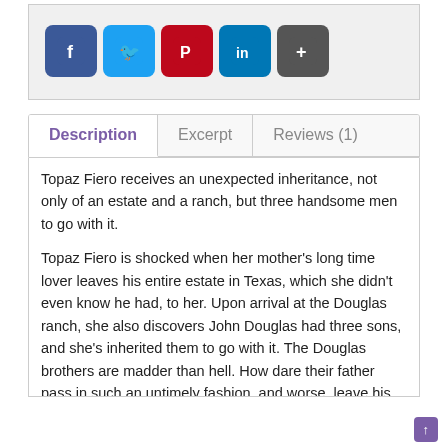[Figure (infographic): Social share buttons: Facebook (blue), Twitter (light blue), Pinterest (red), LinkedIn (blue), More/Plus (dark gray)]
Description | Excerpt | Reviews (1)
Topaz Fiero receives an unexpected inheritance, not only of an estate and a ranch, but three handsome men to go with it.
Topaz Fiero is shocked when her mother’s long time lover leaves his entire estate in Texas, which she didn’t even know he had, to her. Upon arrival at the Douglas ranch, she also discovers John Douglas had three sons, and she’s inherited them to go with it. The Douglas brothers are madder than hell. How dare their father pass in such an untimely fashion, and worse, leave his estate to an unknown woman whom they suspect is probably his mistress. They are ready for battle. No way will they give up their inheritance. When Topaz arrives, they are astonished